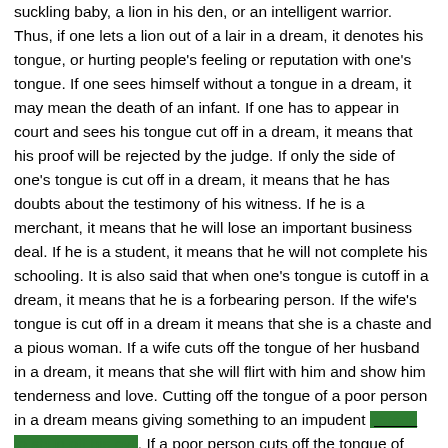suckling baby, a lion in his den, or an intelligent warrior. Thus, if one lets a lion out of a lair in a dream, it denotes his tongue, or hurting people's feeling or reputation with one's tongue. If one sees himself without a tongue in a dream, it may mean the death of an infant. If one has to appear in court and sees his tongue cut off in a dream, it means that his proof will be rejected by the judge. If only the side of one's tongue is cut off in a dream, it means that he has doubts about the testimony of his witness. If he is a merchant, it means that he will lose an important business deal. If he is a student, it means that he will not complete his schooling. It is also said that when one's tongue is cutoff in a dream, it means that he is a forbearing person. If the wife's tongue is cut off in a dream it means that she is a chaste and a pious woman. If a wife cuts off the tongue of her husband in a dream, it means that she will flirt with him and show him tenderness and love. Cutting off the tongue of a poor person in a dream means giving something to an impudent person to shun off his evil. If a poor person cuts off the tongue of